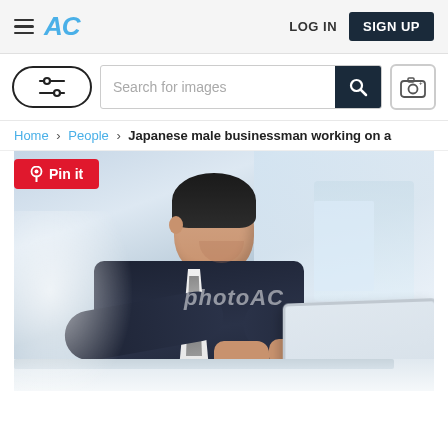AC | LOG IN | SIGN UP
[Figure (screenshot): Website screenshot showing AC photo stock site header with hamburger menu, AC logo, LOG IN and SIGN UP buttons, filter/search bar with search icon and camera icon, breadcrumb navigation Home > People > Japanese male businessman working on a, a red Pin it button, and a stock photo of a Japanese male businessman in a dark suit smiling while working on a laptop, with a photoAC watermark overlay.]
Home > People > Japanese male businessman working on a
Pin it